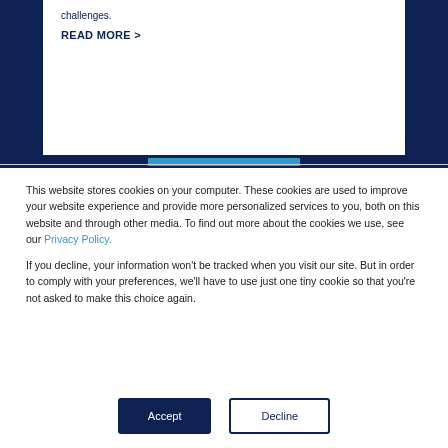challenges.
READ MORE >
This website stores cookies on your computer. These cookies are used to improve your website experience and provide more personalized services to you, both on this website and through other media. To find out more about the cookies we use, see our Privacy Policy.
If you decline, your information won't be tracked when you visit our site. But in order to comply with your preferences, we'll have to use just one tiny cookie so that you're not asked to make this choice again.
Accept
Decline